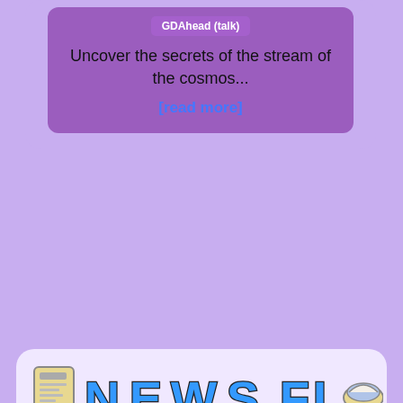GDAhead (talk)
Uncover the secrets of the stream of the cosmos...
[read more]
[Figure (logo): News Flush logo with newspaper icon on left and toilet/bowl icon on right, colorful 3D block letters]
Written by: Waluigi Time (talk)
New Television Drama Sparks Outrage:
[Figure (illustration): Illustration of a Goomba character dressed as a doctor with a stethoscope, set against a warm orange/pink cloudy background]